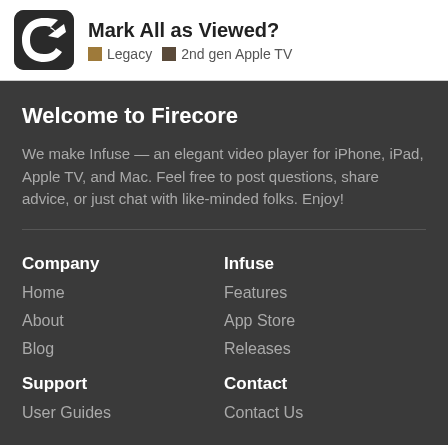Mark All as Viewed? Legacy 2nd gen Apple TV
Welcome to Firecore
We make Infuse — an elegant video player for iPhone, iPad, Apple TV, and Mac. Feel free to post questions, share advice, or just chat with like-minded folks. Enjoy!
Company
Home
About
Blog
Infuse
Features
App Store
Releases
Support
User Guides
Contact
Contact Us